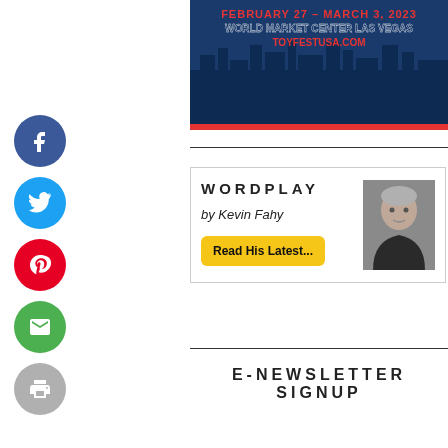[Figure (photo): ToyFest USA banner ad: FEBRUARY 27 - MARCH 3, 2023, WORLD MARKET CENTER LAS VEGAS, TOYFESTUSA.COM, with Las Vegas skyline illustration]
[Figure (infographic): Wordplay by Kevin Fahy box with author photo and Read His Latest... button]
E-NEWSLETTER SIGNUP